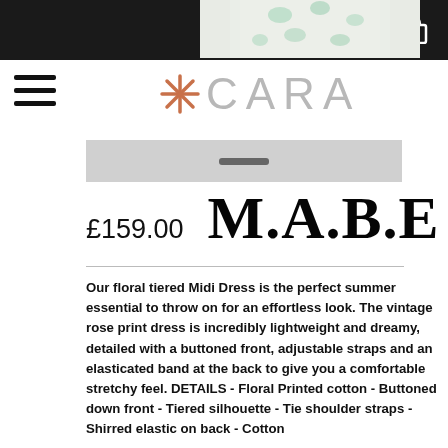[Figure (photo): Floral tiered midi dress product photo, partially visible at top of page]
Navigation bar with hamburger menu and CARA logo
[Figure (photo): Lower portion of product image, showing dress mid-section]
£159.00  M.A.B.E
Our floral tiered Midi Dress is the perfect summer essential to throw on for an effortless look. The vintage rose print dress is incredibly lightweight and dreamy, detailed with a buttoned front, adjustable straps and an elasticated band at the back to give you a comfortable stretchy feel. DETAILS - Floral Printed cotton - Buttoned down front - Tiered silhouette - Tie shoulder straps - Shirred elastic on back - Cotton